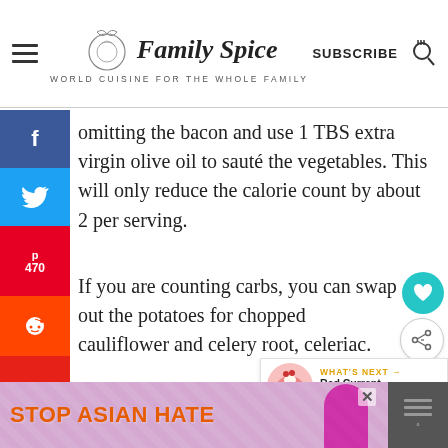Family Spice — WORLD CUISINE FOR THE WHOLE FAMILY | SUBSCRIBE
omitting the bacon and use 1 TBS extra virgin olive oil to sauté the vegetables. This will only reduce the calorie count by about 2 per serving.
If you are counting carbs, you can swap out the potatoes for chopped cauliflower and celery root, celeriac.
Like all good chowders, this Manhattan
[Figure (screenshot): Social media share sidebar with Facebook, Twitter, Pinterest (470), Reddit, Yummly buttons on left edge. Heart and share floating buttons on right. 470 SHARES label below. WHAT'S NEXT - Red Currant and Rosema... promo on bottom right. STOP ASIAN HATE ad banner at bottom.]